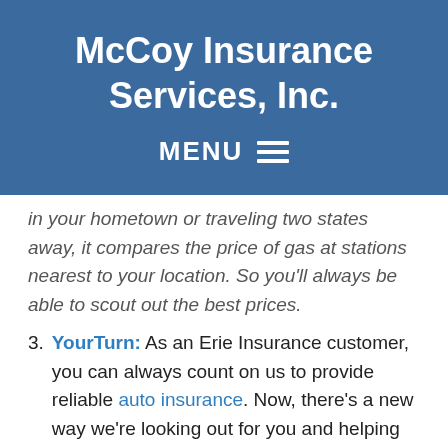McCoy Insurance Services, Inc.
MENU
in your hometown or traveling two states away, it compares the price of gas at stations nearest to your location. So you'll always be able to scout out the best prices.
YourTurn: As an Erie Insurance customer, you can always count on us to provide reliable auto insurance. Now, there's a new way we're looking out for you and helping you stay safe on the road (and giving you a chance to earn some